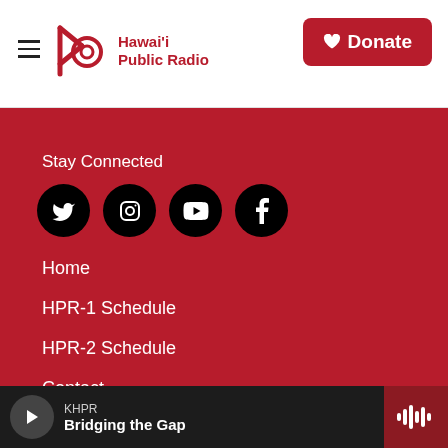Hawai'i Public Radio — Donate
Stay Connected
[Figure (other): Social media icons: Twitter, Instagram, YouTube, Facebook]
Home
HPR-1 Schedule
HPR-2 Schedule
Contact
Terms of Service
KHPR — Bridging the Gap